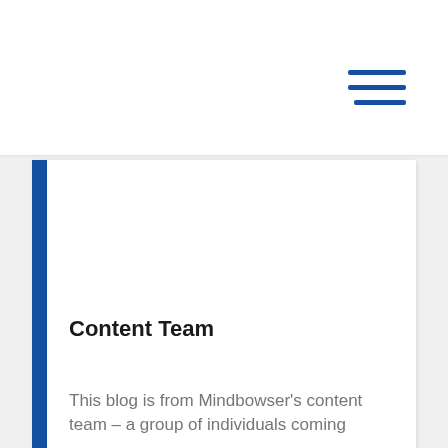[Figure (other): Hamburger menu icon with three horizontal blue lines in the top-right area of the page]
Content Team
This blog is from Mindbowser's content team – a group of individuals coming